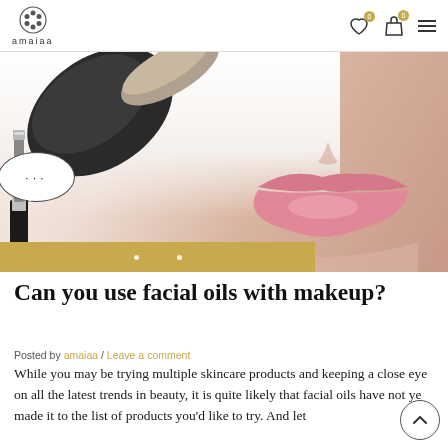amaiaa
[Figure (photo): Close-up photo of a woman's face with a makeup brush, pink lips, and a gold banner with dots at the bottom of the image. A chat bubble with ellipsis is visible on the left side.]
Can you use facial oils with makeup?
Posted by amaiaa / Leave a comment
While you may be trying multiple skincare products and keeping a close eye on all the latest trends in beauty, it is quite likely that facial oils have not yet made it to the list of products you'd like to try. And let